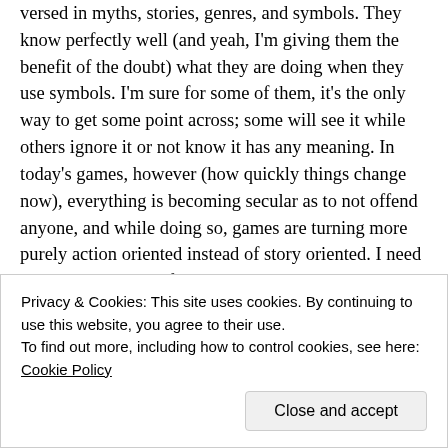versed in myths, stories, genres, and symbols. They know perfectly well (and yeah, I'm giving them the benefit of the doubt) what they are doing when they use symbols. I'm sure for some of them, it's the only way to get some point across; some will see it while others ignore it or not know it has any meaning. In today's games, however (how quickly things change now), everything is becoming secular as to not offend anyone, and while doing so, games are turning more purely action oriented instead of story oriented. I need to check out some of the new RPGs, however, and wait for some of the next serialized ones to come out. (In the real world, beliefs and convictions are suppressed in the publi
Privacy & Cookies: This site uses cookies. By continuing to use this website, you agree to their use.
To find out more, including how to control cookies, see here: Cookie Policy
Close and accept